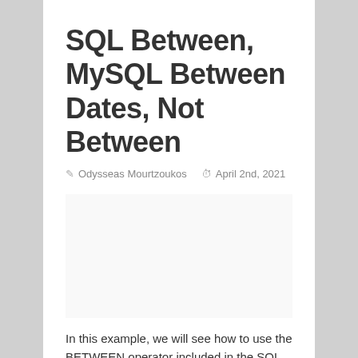SQL Between, MySQL Between Dates, Not Between
Odysseas Mourtzoukos  April 2nd, 2021
[Figure (other): Advertisement or empty placeholder area]
In this example, we will see how to use the BETWEEN operator included in the SQL. 1. Introduction The BETWEEN is a logical operator, often used in the WHERE clause of the SELECT, UPDATE, and DELETE statements, and gives us the ability to specify whether a value is in a given range or not. Syntax SELECT column_name(s) FROM table_name WHERE column_name ...